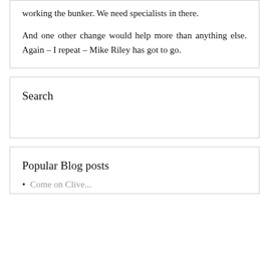working the bunker. We need specialists in there.

And one other change would help more than anything else. Again - I repeat - Mike Riley has got to go.
Search
Popular Blog posts
Come on Clive...